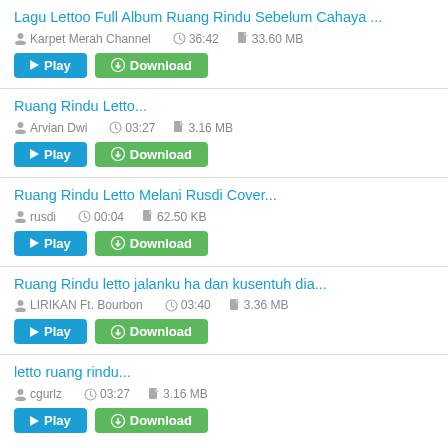Lagu Lettoo Full Album Ruang Rindu Sebelum Cahaya ... | Karpet Merah Channel | 36:42 | 33.60 MB | Play | Download
Ruang Rindu Letto... | Arvian Dwi | 03:27 | 3.16 MB | Play | Download
Ruang Rindu Letto Melani Rusdi Cover... | rusdi | 00:04 | 62.50 KB | Play | Download
Ruang Rindu letto jalanku ha dan kusentuh dia... | LIRIKAN Ft. Bourbon | 03:40 | 3.36 MB | Play | Download
letto ruang rindu... | cgurlz | 03:27 | 3.16 MB | Play | Download